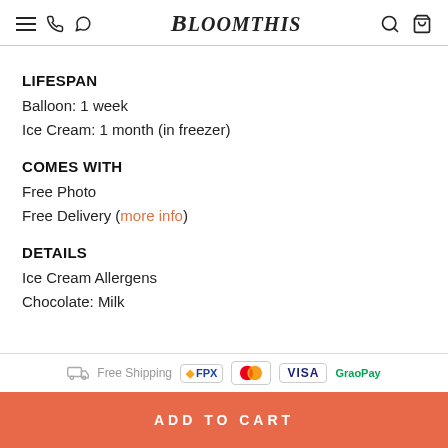BloomThis
LIFESPAN
Balloon: 1 week
Ice Cream: 1 month (in freezer)
COMES WITH
Free Photo
Free Delivery (more info)
DETAILS
Ice Cream Allergens
Chocolate: Milk
Free Shipping | FPX | Mastercard | VISA | GraoPay | ADD TO CART